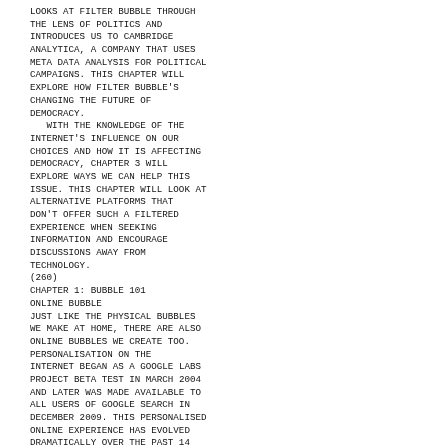looks at filter bubble through the lens of politics and introduces us to Cambridge Analytica, a company that uses meta data analysis for political campaigns. This chapter will explore how filter bubble's changing the future of democracy.
With the knowledge of the internet's influence on our choices and how it is affecting democracy, Chapter 3 will explore ways we can help this issue. This chapter will look at alternative platforms that don't offer such a filtered experience when seeking information and encourage discussions away from technology.
(260)
Chapter 1: Bubble 101
Online Bubble
Just like the physical bubbles we make at home, there are also online bubbles we create too. Personalisation on the internet began as a Google Labs Project beta test in March 2004 and later was made available to all users of Google search in December 2009. This personalised online experience has evolved dramatically over the past 14 years, almost all search engines today provide us with a tailored search and there are social applications available on all devices that personalise our social lives too.
The term 'filter bubble' has